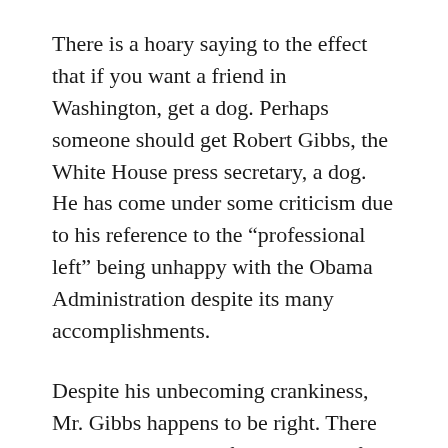There is a hoary saying to the effect that if you want a friend in Washington, get a dog. Perhaps someone should get Robert Gibbs, the White House press secretary, a dog. He has come under some criticism due to his reference to the “professional left” being unhappy with the Obama Administration despite its many accomplishments.
Despite his unbecoming crankiness, Mr. Gibbs happens to be right. There are zealots on the leftward range of the political spectrum who are displeased because he has not